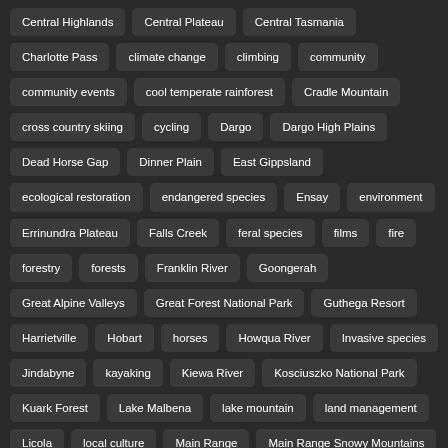Central Highlands
Central Plateau
Central Tasmania
Charlotte Pass
climate change
climbing
community
community events
cool temperate rainforest
Cradle Mountain
cross country skiing
cycling
Dargo
Dargo High Plains
Dead Horse Gap
Dinner Plain
East Gippsland
ecological restoration
endangered species
Ensay
environment
Errinundra Plateau
Falls Creek
feral species
films
fire
forestry
forests
Franklin River
Goongerah
Great Alpine Valleys
Great Forest National Park
Guthega Resort
Harrietville
Hobart
horses
Howqua River
Invasive species
Jindabyne
kayaking
Kiewa River
Kosciuszko National Park
Kuark Forest
Lake Malbena
lake mountain
land management
Licola
local culture
Main Range
Main Range Snowy Mountains